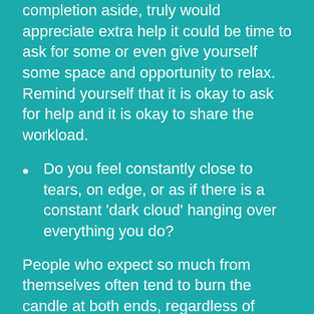completion aside, truly would appreciate extra help it could be time to ask for some or even give yourself some space and opportunity to relax. Remind yourself that it is okay to ask for help and it is okay to share the workload.
Do you feel constantly close to tears, on edge, or as if there is a constant ‘dark cloud’ hanging over everything you do?
People who expect so much from themselves often tend to burn the candle at both ends, regardless of mental and physical health. This usually leads to burnout where your mental and physical capabilities are compromised and it is necessary to take an extended period of rest from all aspects of work. If the above symptoms from this question resonate with you, it could be time to grant yourself a mini-holiday, even a weekend without checking your emails or